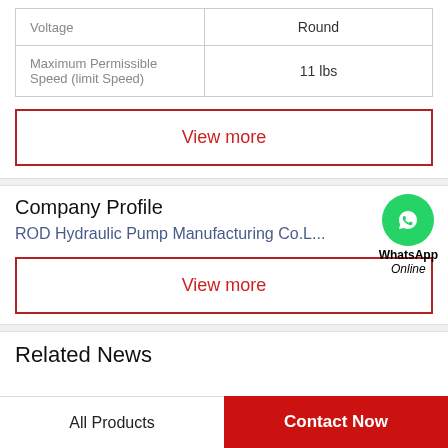|  |  |
| --- | --- |
| Voltage | Round |
| Maximum Permissible Speed (limit Speed) | 11 lbs |
View more
Company Profile
ROD Hydraulic Pump Manufacturing Co.L...
[Figure (logo): WhatsApp green circle icon with phone handset, labeled WhatsApp Online]
View more
Related News
All Products
Contact Now